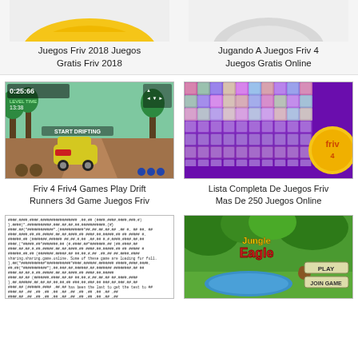[Figure (screenshot): Partial top image left - yellow rounded shape on grey background (Juegos Friv 2018)]
Juegos Friv 2018 Juegos Gratis Friv 2018
[Figure (screenshot): Partial top image right - grey/white shape on white background (Jugando A Juegos Friv 4)]
Jugando A Juegos Friv 4 Juegos Gratis Online
[Figure (screenshot): Car racing game screenshot - yellow SUV on dirt road with palm trees, timer 0:25:66, text START DRIFTING]
Friv 4 Friv4 Games Play Drift Runners 3d Game Juegos Friv
[Figure (screenshot): Friv game selection grid on purple background with many colorful game icon thumbnails and large Friv logo]
Lista Completa De Juegos Friv Mas De 250 Juegos Online
[Figure (screenshot): Code/text screenshot showing dense programming or HTML code text]
[Figure (screenshot): Jungle Eagle game screenshot with jungle background, blue pond, PLAY and JOIN GAME buttons]